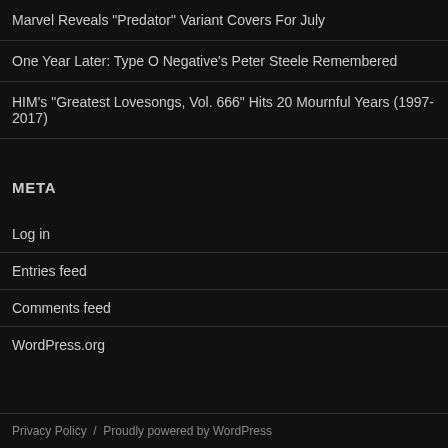Marvel Reveals "Predator" Variant Covers For July
One Year Later: Type O Negative's Peter Steele Remembered
HIM's "Greatest Lovesongs, Vol. 666" Hits 20 Mournful Years (1997-2017)
META
Log in
Entries feed
Comments feed
WordPress.org
Privacy Policy  /  Proudly powered by WordPress